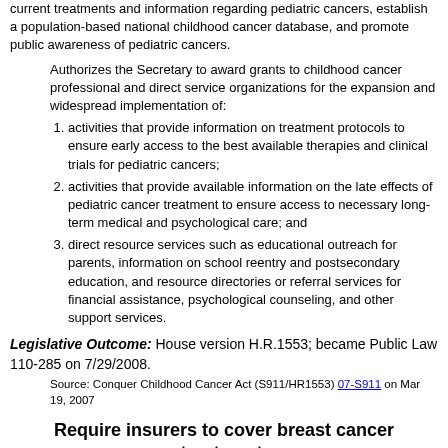current treatments and information regarding pediatric cancers, establish a population-based national childhood cancer database, and promote public awareness of pediatric cancers.
Authorizes the Secretary to award grants to childhood cancer professional and direct service organizations for the expansion and widespread implementation of:
activities that provide information on treatment protocols to ensure early access to the best available therapies and clinical trials for pediatric cancers;
activities that provide available information on the late effects of pediatric cancer treatment to ensure access to necessary long-term medical and psychological care; and
direct resource services such as educational outreach for parents, information on school reentry and postsecondary education, and resource directories or referral services for financial assistance, psychological counseling, and other support services.
Legislative Outcome: House version H.R.1553; became Public Law 110-285 on 7/29/2008.
Source: Conquer Childhood Cancer Act (S911/HR1553) 07-S911 on Mar 19, 2007
Require insurers to cover breast cancer treatment.
Meeks co-sponsored Breast Cancer Patient Protection Act
Congressional Summary: Amends the Employee Retirement Income Security Act of 1974 (ERISA), the Public Health Service Act, and the Internal Revenue Code to require coverage and radiation therapy for breast cancer treatment.
Prohibits restricting benefits for any hospital length of stay to less than 48